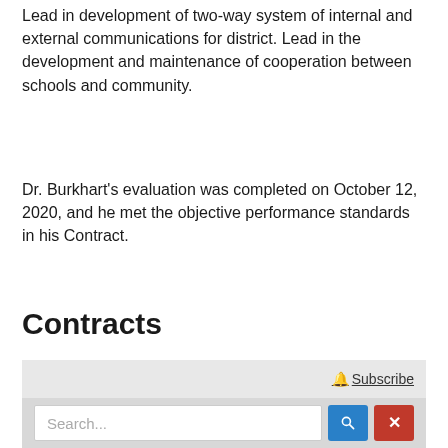Lead in development of two-way system of internal and external communications for district. Lead in the development and maintenance of cooperation between schools and community.
Dr. Burkhart's evaluation was completed on October 12, 2020, and he met the objective performance standards in his Contract.
Contracts
[Figure (screenshot): A subscribe button with bell icon and a search bar with blue search button and red clear button, on a grey background panel.]